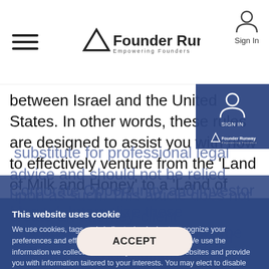Founder Runway — Empowering Founders
between Israel and the United States. In other words, these rules are designed to assist you with how to effectively venture from the 'Land of Milk and Honey' to a 'Land of Corporate Opportunity and Investor Money'. Internalize these 'Commandments', and you will be well equipped to maximize your deal-making and relationship-building potential in the United States in the various business scenarios you will face.
This website uses cookie
We use cookies, tags and similar technologies to recognize your preferences and effectively administer the Websites. We use the information we collect to enhance your visit to the Websites and provide you with information tailored to your interests. You may elect to disable cookies, however, doing so may affect your use of some portions of the Websites. For more information about our cookies and how to disable the cookies, click here, otherwise, please ACCEPT.
This article does not constitute or substitute for professional legal advice and should not be relied upon as such. This article does not create an attorney-client relationship. Please consult your attorney with questions